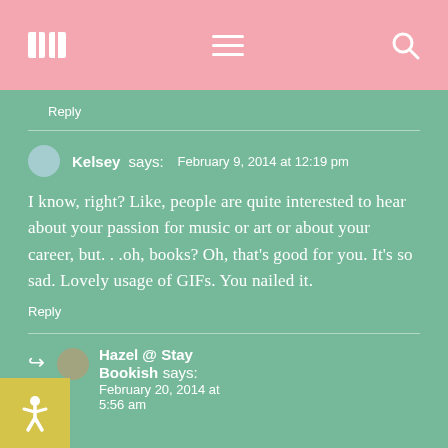[book icon] [menu icon] [search icon]
Reply
Kelsey says:    February 9, 2014 at 12:19 pm
I know, right? Like, people are quite interested to hear about your passion for music or art or about your career, but. . .oh, books? Oh, that's good for you. It's so sad. Lovely usage of GIFs. You nailed it.
Reply
Hazel @ Stay Bookish says:    February 20, 2014 at 5:56 am